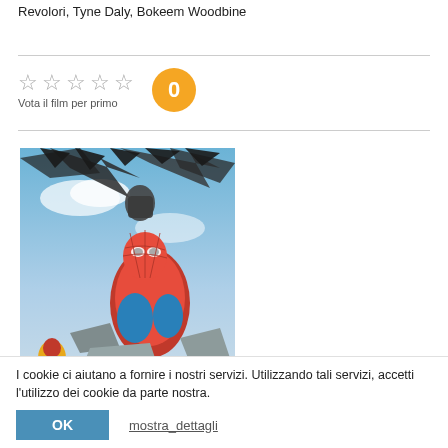Revolori, Tyne Daly, Bokeem Woodbine
[Figure (photo): Movie poster for Spider-Man Homecoming showing Spider-Man in red and blue suit with the Vulture villain above him and Iron Man in the background]
I cookie ci aiutano a fornire i nostri servizi. Utilizzando tali servizi, accetti l'utilizzo dei cookie da parte nostra.
OK    mostra_dettagli